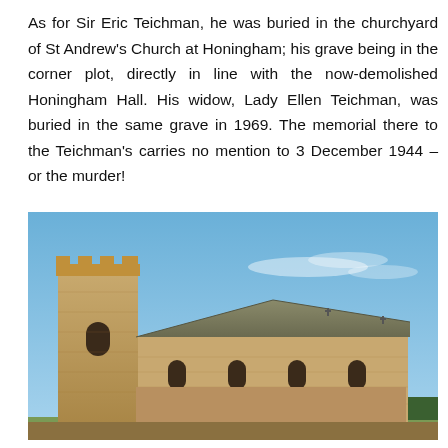As for Sir Eric Teichman, he was buried in the churchyard of St Andrew's Church at Honingham; his grave being in the corner plot, directly in line with the now-demolished Honingham Hall. His widow, Lady Ellen Teichman, was buried in the same grave in 1969. The memorial there to the Teichman's carries no mention to 3 December 1944 – or the murder!
[Figure (photo): Photograph of St Andrew's Church at Honingham, showing a stone medieval church with a square tower on the left, a long nave with a pitched roof, and a clear blue sky with faint clouds in the background. The church is built of light golden-brown stone.]